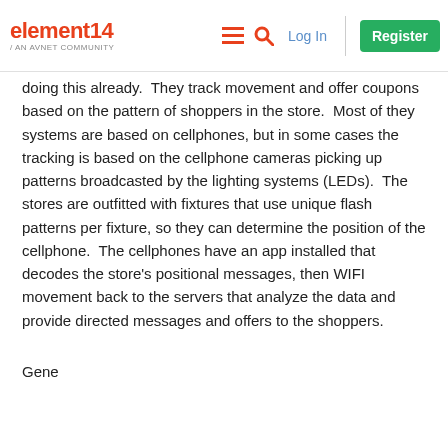element14 / AN AVNET COMMUNITY  [navigation: menu, search, Log In, Register]
doing this already.  They track movement and offer coupons based on the pattern of shoppers in the store.  Most of they systems are based on cellphones, but in some cases the tracking is based on the cellphone cameras picking up patterns broadcasted by the lighting systems (LEDs).  The stores are outfitted with fixtures that use unique flash patterns per fixture, so they can determine the position of the cellphone.  The cellphones have an app installed that decodes the store's positional messages, then WIFI movement back to the servers that analyze the data and provide directed messages and offers to the shoppers.
Gene